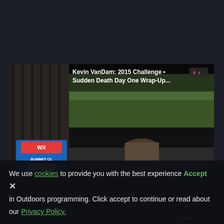[Figure (screenshot): Screenshot of a video player on a dark background website showing Kevin VanDam: 2015 Challenge Sudden Death Day One Wrap-Up video. The video player shows a person outdoors with trees in background, loading spinner dots visible, mute button in upper right, playback controls at bottom. Behind/beside the video player is a partially visible background showing a Summit Club branded panel. Cookie consent banner overlays the bottom of the page.]
We use cookies to provide you with the best experience  Accept  ✕
in Outdoors programming. Click accept to continue or read about
our Privacy Policy.
le Fishing Preview:... 1